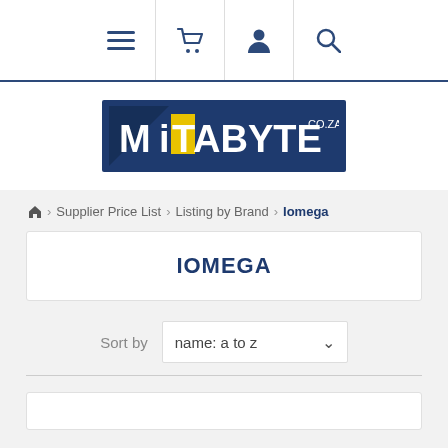Navigation bar with menu, cart, account, and search icons
[Figure (logo): MiTABYTE.co.za logo — white and yellow text on dark navy blue background]
Home > Supplier Price List > Listing by Brand > Iomega
IOMEGA
Sort by  name: a to z
[Figure (other): Partial product card at bottom of page]